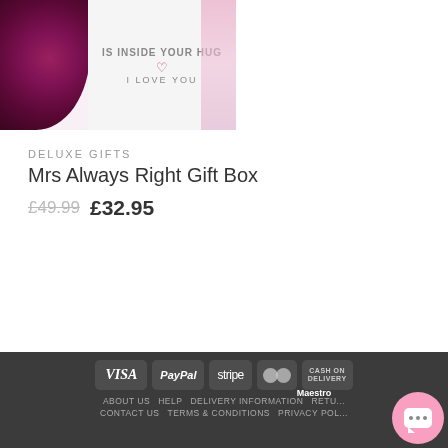[Figure (photo): Product photo of Mrs Always Right Gift Box showing a purple rose and a white mug with text 'IS INSIDE YOUR HUG' and 'I LOVE YOU']
DELUXE GIFTS
Mrs Always Right Gift Box
£49.99  £32.95
[Figure (illustration): Payment method badges: VISA, American Express, MasterCard, Maestro, PayPal]
[Figure (illustration): Security badges: Norton Secured powered by Symantec, VeriSign Secured, McAfee SECURE]
VISA  PayPal  stripe  MasterCard  CASH ON DELIVERY  ABOUT US  HELP  DELIVERY INFORMATION  RETU...  CONTACT US  TERMS & CONDITIONS  PRIVACY POL...